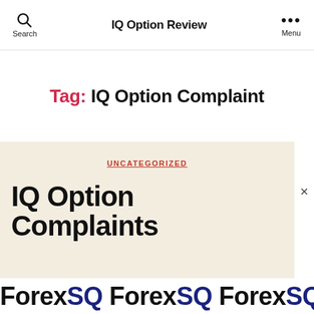IQ Option Review
Tag: IQ Option Complaint
UNCATEGORIZED
IQ Option Complaints
ForexSQ ForexSQ ForexSQ Forex